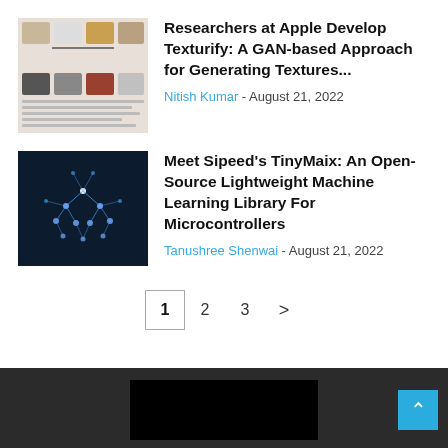[Figure (photo): Thumbnail image showing various furniture items and objects in a research paper figure with flowchart-like diagram]
Researchers at Apple Develop Texturify: A GAN-based Approach for Generating Textures...
Nitish Kumar - August 21, 2022
[Figure (photo): Dark blue background with a glowing neural network/brain shape made of connected nodes and lines]
Meet Sipeed's TinyMaix: An Open-Source Lightweight Machine Learning Library For Microcontrollers
Tanushree Shenwai - August 21, 2022
1  2  3  >
Footer bar with back-to-top button